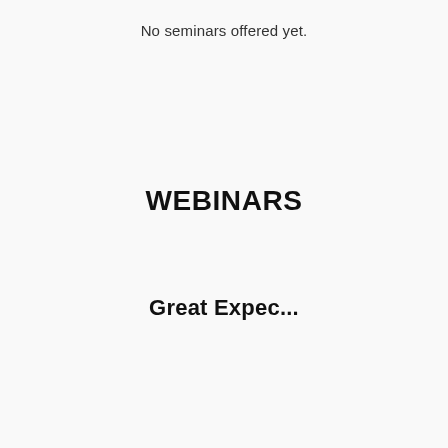No seminars offered yet.
WEBINARS
Great Expec...